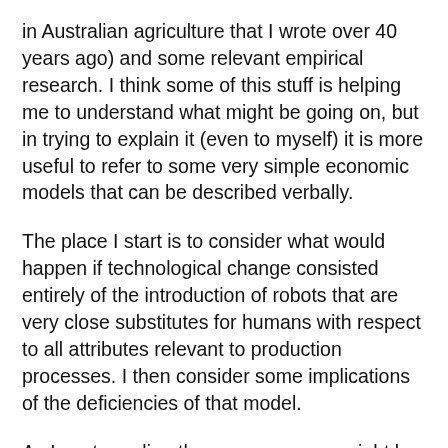in Australian agriculture that I wrote over 40 years ago) and some relevant empirical research. I think some of this stuff is helping me to understand what might be going on, but in trying to explain it (even to myself) it is more useful to refer to some very simple economic models that can be described verbally.
The place I start is to consider what would happen if technological change consisted entirely of the introduction of robots that are very close substitutes for humans with respect to all attributes relevant to production processes. I then consider some implications of the deficiencies of that model.
As I wrote earlier, the consequences might be like introducing slave labour to compete with the existing workforce. Real wages might fall under such a scenario, but we should not be too hasty in reaching that conclusion.